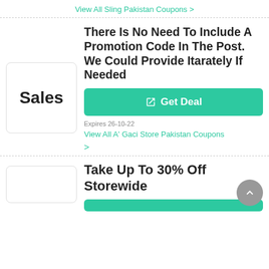View All Sling Pakistan Coupons >
There Is No Need To Include A Promotion Code In The Post. We Could Provide Itarately If Needed
[Figure (logo): Sales logo box with bold text 'Sales']
Get Deal
Expires 26-10-22
View All A' Gaci Store Pakistan Coupons
>
Take Up To 30% Off Storewide